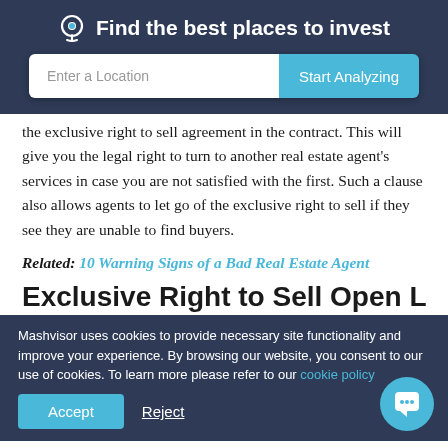Find the best places to invest
the exclusive right to sell agreement in the contract. This will give you the legal right to turn to another real estate agent's services in case you are not satisfied with the first. Such a clause also allows agents to let go of the exclusive right to sell if they see they are unable to find buyers.
Related: 10 Warning Signs of a Bad Real Estate Agent
Exclusive Right to Sell Open Listing
Mashvisor uses cookies to provide necessary site functionality and improve your experience. By browsing our website, you consent to our use of cookies. To learn more please refer to our cookie policy